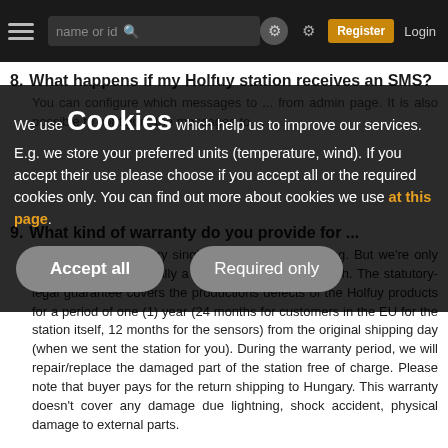name or id  [search] [settings] [Register] [Login]
8. What happens if my Holfuy station receives an SMS?
You can configure which messages to ... from admin page. It is also possible to configure the messages to ...
9. What kind of warranty do you provide for ...
We carefully test every single station before shipping. But we're only human, and occasionally a problem might slip through. The statutory-legal guarantee covers the productions defects of the Holfuy products for a period of one (1) year (24 months for customers in the EU for the station itself, 12 months for the sensors) from the original shipping day (when we sent the station for you). During the warranty period, we will repair/replace the damaged part of the station free of charge. Please note that buyer pays for the return shipping to Hungary. This warranty doesn't cover any damage due lightning, shock accident, physical damage to external parts.
We use Cookies which help us to improve our services. E.g. we store your preferred units (temperature, wind). If you accept their use please choose if you accept all or the required cookies only. You can find out more about cookies we use at this page.